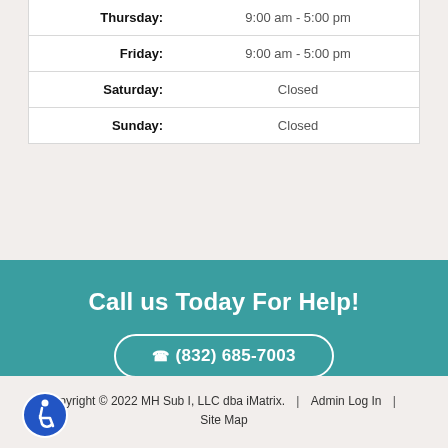| Day | Hours |
| --- | --- |
| Thursday: | 9:00 am  -  5:00 pm |
| Friday: | 9:00 am  -  5:00 pm |
| Saturday: | Closed |
| Sunday: | Closed |
Call us Today For Help!
(832) 685-7003
Copyright © 2022 MH Sub I, LLC dba iMatrix.  |  Admin Log In  |  Site Map